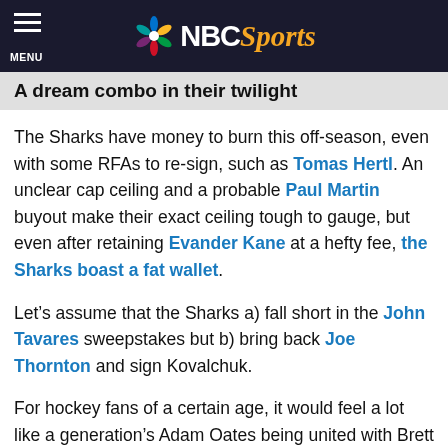NBC Sports
A dream combo in their twilight
The Sharks have money to burn this off-season, even with some RFAs to re-sign, such as Tomas Hertl. An unclear cap ceiling and a probable Paul Martin buyout make their exact ceiling tough to gauge, but even after retaining Evander Kane at a hefty fee, the Sharks boast a fat wallet.
Let’s assume that the Sharks a) fall short in the John Tavares sweepstakes but b) bring back Joe Thornton and sign Kovalchuk.
For hockey fans of a certain age, it would feel a lot like a generation’s Adam Oates being united with Brett Hull, albeit past their primes. (So maybe this would be akin to Hull joining Oates when the latter almost won a Stanley Cup with the Ducks?)